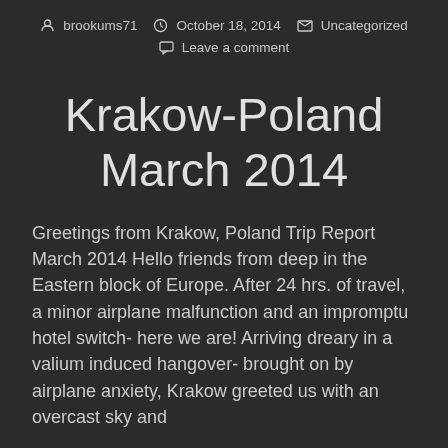brookums71  October 18, 2014  Uncategorized  Leave a comment
Krakow-Poland March 2014
Greetings from Krakow, Poland Trip Report March 2014 Hello friends from deep in the Eastern block of Europe. After 24 hrs. of travel, a minor airplane malfunction and an impromptu hotel switch- here we are! Arriving dreary in a valium induced hangover- brought on by airplane anxiety, Krakow greeted us with an overcast sky and